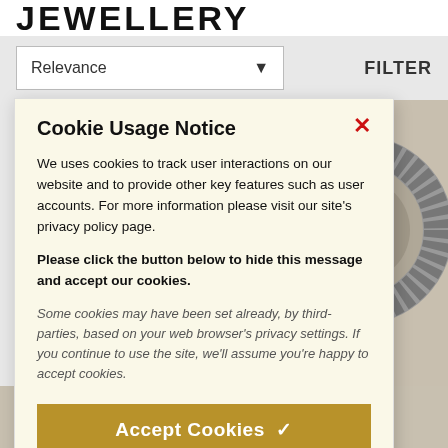JEWELLERY
Relevance
FILTER
[Figure (photo): Silver runic ring/runeband jewelry product photo on grey background]
Cookie Usage Notice
We uses cookies to track user interactions on our website and to provide other key features such as user accounts. For more information please visit our site's privacy policy page.
Please click the button below to hide this message and accept our cookies.
Some cookies may have been set already, by third-parties, based on your web browser's privacy settings. If you continue to use the site, we'll assume you're happy to accept cookies.
Accept Cookies ✓
Runeband